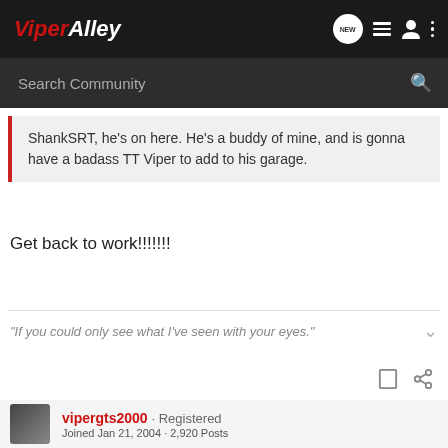ViperAlley
Search Community
ShankSRT, he's on here. He's a buddy of mine, and is gonna have a badass TT Viper to add to his garage.
Get back to work!!!!!!!
"If you could only see what I've seen with your eyes."
vipergts2000 · Registered
Joined Jan 21, 2004 · 2,920 Posts